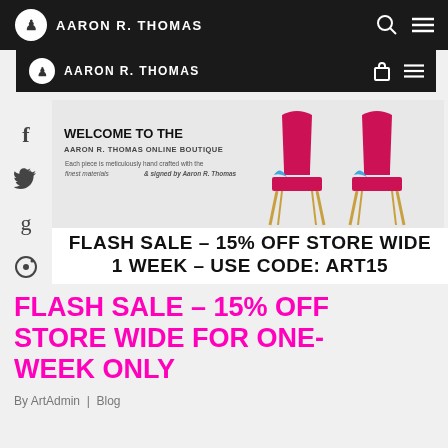AARON R. THOMAS
AARON R. THOMAS
[Figure (photo): Banner image showing two red and white artisan chairs with gold frames on a light grey background, with text overlay reading WELCOME TO THE AARON R. THOMAS ONLINE BOUTIQUE]
FLASH SALE – 15% OFF STORE WIDE
1 WEEK – USE CODE: ART15
FLASH SALE – 15% OFF STORE WIDE FOR ONE-WEEK ONLY
By ArtAdmin | Blog